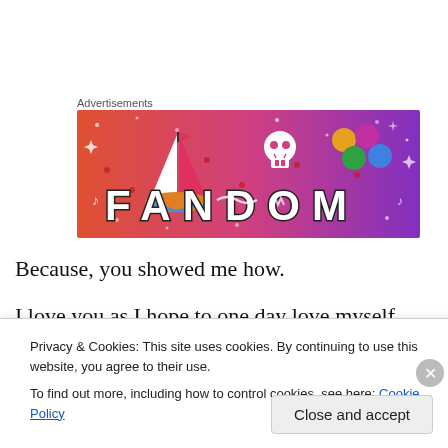Advertisements
[Figure (illustration): Fandom advertisement banner with colorful gradient background (orange to purple) featuring the FANDOM logo text and various doodle illustrations including a sailboat, skull, dice, and other icons]
Because, you showed me how.
I love you as I hope to one day love myself.
Privacy & Cookies: This site uses cookies. By continuing to use this website, you agree to their use.
To find out more, including how to control cookies, see here: Cookie Policy
Close and accept